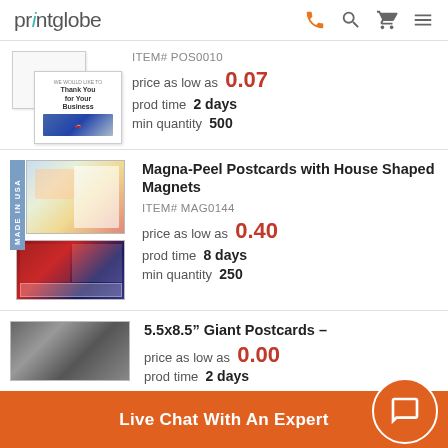printglobe [phone] [search] [cart] [menu]
[Figure (photo): Product image: postcard with 'Thank You for Your Business' text and car image]
ITEM# POS0010
price as low as 0.07
prod time 2 days
min quantity 500
[Figure (photo): Product image: Magna-Peel Postcards with House Shaped Magnets, showing two postcard designs]
Magna-Peel Postcards with House Shaped Magnets
ITEM# MAG0144
price as low as 0.40
prod time 8 days
min quantity 250
[Figure (photo): Partial product image: 5.5x8.5 Giant Postcards]
5.5x8.5" Giant Postcards -
price as low as 0.00
prod time 2 days
Live Chat With An Expert